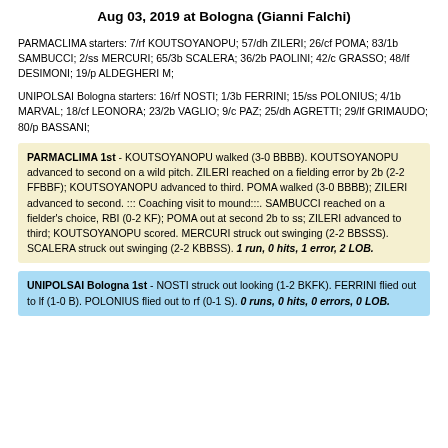Aug 03, 2019 at Bologna (Gianni Falchi)
PARMACLIMA starters: 7/rf KOUTSOYANOPU; 57/dh ZILERI; 26/cf POMA; 83/1b SAMBUCCI; 2/ss MERCURI; 65/3b SCALERA; 36/2b PAOLINI; 42/c GRASSO; 48/lf DESIMONI; 19/p ALDEGHERI M;
UNIPOLSAI Bologna starters: 16/rf NOSTI; 1/3b FERRINI; 15/ss POLONIUS; 4/1b MARVAL; 18/cf LEONORA; 23/2b VAGLIO; 9/c PAZ; 25/dh AGRETTI; 29/lf GRIMAUDO; 80/p BASSANI;
PARMACLIMA 1st - KOUTSOYANOPU walked (3-0 BBBB). KOUTSOYANOPU advanced to second on a wild pitch. ZILERI reached on a fielding error by 2b (2-2 FFBBF); KOUTSOYANOPU advanced to third. POMA walked (3-0 BBBB); ZILERI advanced to second. ::: Coaching visit to mound:::. SAMBUCCI reached on a fielder's choice, RBI (0-2 KF); POMA out at second 2b to ss; ZILERI advanced to third; KOUTSOYANOPU scored. MERCURI struck out swinging (2-2 BBSSS). SCALERA struck out swinging (2-2 KBBSS). 1 run, 0 hits, 1 error, 2 LOB.
UNIPOLSAI Bologna 1st - NOSTI struck out looking (1-2 BKFK). FERRINI flied out to lf (1-0 B). POLONIUS flied out to rf (0-1 S). 0 runs, 0 hits, 0 errors, 0 LOB.